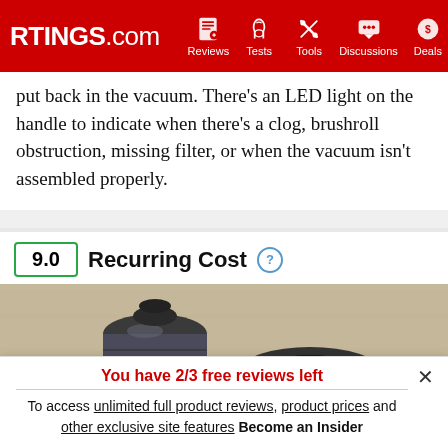RTINGS.com | Reviews | Tests | Tools | Discussions | Deals
put back in the vacuum. There's an LED light on the handle to indicate when there's a clog, brushroll obstruction, missing filter, or when the vacuum isn't assembled properly.
9.0 Recurring Cost
[Figure (photo): Photo of vacuum cleaner filter and accessory components on a light wooden surface including a cylindrical filter, ring-shaped filter, and a blue circular part]
You have 2/3 free reviews left
To access unlimited full product reviews, product prices and other exclusive site features Become an Insider